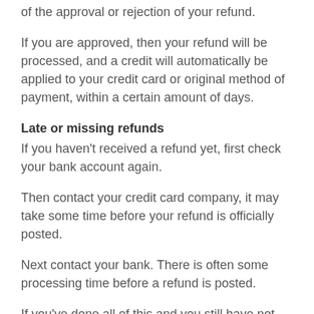of the approval or rejection of your refund.
If you are approved, then your refund will be processed, and a credit will automatically be applied to your credit card or original method of payment, within a certain amount of days.
Late or missing refunds
If you haven't received a refund yet, first check your bank account again.
Then contact your credit card company, it may take some time before your refund is officially posted.
Next contact your bank. There is often some processing time before a refund is posted.
If you've done all of this and you still have not received your refund yet, please contact us at {email address}.
Sale items